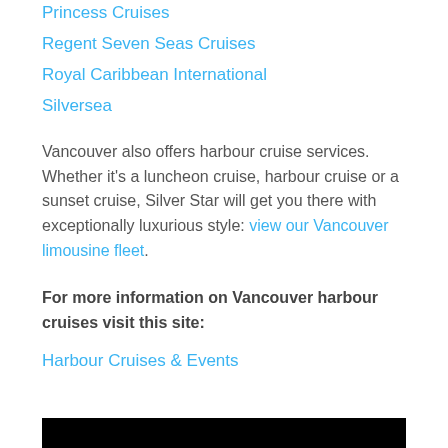Princess Cruises
Regent Seven Seas Cruises
Royal Caribbean International
Silversea
Vancouver also offers harbour cruise services. Whether it’s a luncheon cruise, harbour cruise or a sunset cruise, Silver Star will get you there with exceptionally luxurious style: view our Vancouver limousine fleet.
For more information on Vancouver harbour cruises visit this site:
Harbour Cruises & Events
[Figure (photo): Black bar at bottom of page, partial image]